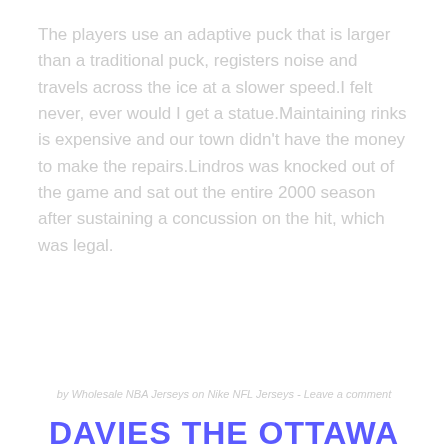The players use an adaptive puck that is larger than a traditional puck, registers noise and travels across the ice at a slower speed.I felt never, ever would I get a statue.Maintaining rinks is expensive and our town didn't have the money to make the repairs.Lindros was knocked out of the game and sat out the entire 2000 season after sustaining a concussion on the hit, which was legal.
by Wholesale NBA Jerseys on Nike NFL Jerseys - Leave a comment
DAVIES THE OTTAWA NATIVE